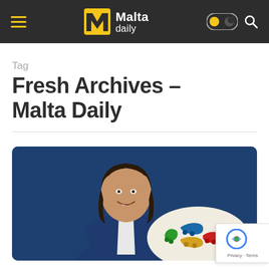Malta Daily — navigation header with hamburger menu, Malta Daily logo, dark mode toggle, and search icon
Tag
Fresh Archives – Malta Daily
[Figure (photo): A smiling man with shoulder-length dark hair wearing a navy blue suit jacket and white shirt, photographed against a dark blue background, holding or posed near a colorful world map board game piece holder with green, blue, yellow, and red game pieces shaped like people.]